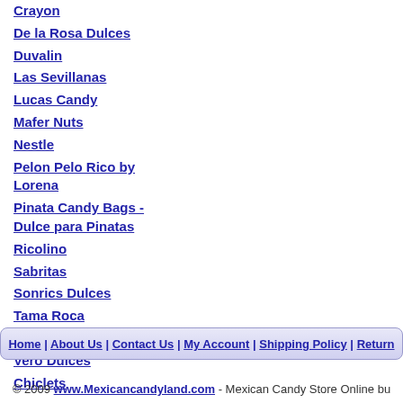Crayon
De la Rosa Dulces
Duvalin
Las Sevillanas
Lucas Candy
Mafer Nuts
Nestle
Pelon Pelo Rico by Lorena
Pinata Candy Bags - Dulce para Pinatas
Ricolino
Sabritas
Sonrics Dulces
Tama Roca
Tostitos
Vero Dulces
Chiclets
Home | About Us | Contact Us | My Account | Shipping Policy | Return
© 2009 www.Mexicancandyland.com - Mexican Candy Store Online bu